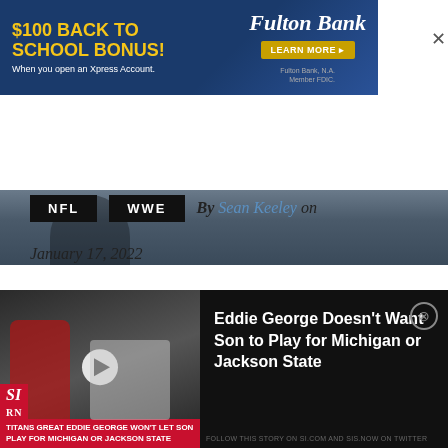[Figure (screenshot): Fulton Bank advertisement banner: '$100 BACK TO SCHOOL BONUS! When you open an Xpress Account.' with Fulton Bank logo and LEARN MORE button]
[Figure (photo): Photo strip of a person, partially visible]
NFL   WWE   By Sean Keeley on January 17, 2022
[Figure (screenshot): Video widget showing Eddie George and a football player. Caption: 'TITANS GREAT EDDIE GEORGE WON'T LET SON PLAY FOR MICHIGAN OR JACKSON STATE'. Side text: 'Eddie George Doesn't Want Son to Play for Michigan or Jackson State']